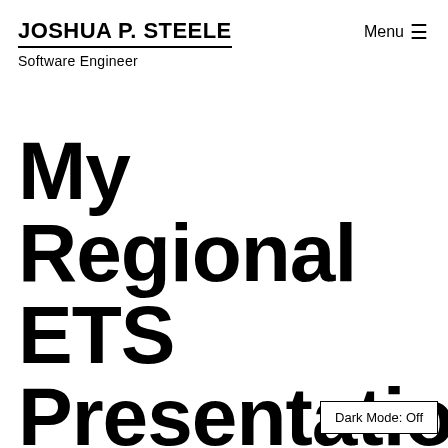JOSHUA P. STEELE  Menu ≡
Software Engineer
My Regional ETS Presentation: Reconcilia…
Dark Mode: Off